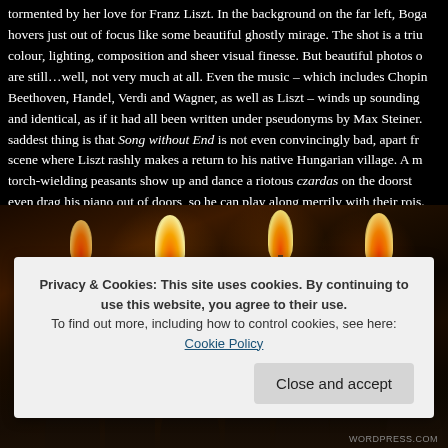tormented by her love for Franz Liszt. In the background on the far left, Boga hovers just out of focus like some beautiful ghostly mirage. The shot is a triu colour, lighting, composition and sheer visual finesse. But beautiful photos of are still…well, not very much at all. Even the music – which includes Chopin Beethoven, Handel, Verdi and Wagner, as well as Liszt – winds up sounding and identical, as if it had all been written under pseudonyms by Max Steiner. saddest thing is that Song without End is not even convincingly bad, apart fr scene where Liszt rashly makes a return to his native Hungarian village. A n torch-wielding peasants show up and dance a riotous czardas on the doorst even drag his piano out of doors, so he can play along merrily with their rois.
[Figure (photo): Dark cinematic still from a film showing a crowd of torch-wielding peasants in a dimly lit scene. Multiple flames from torches illuminate the crowd from above. A central figure appears to be seated at a piano. The scene is very dark with warm orange torch light.]
Privacy & Cookies: This site uses cookies. By continuing to use this website, you agree to their use.
To find out more, including how to control cookies, see here: Cookie Policy
Close and accept